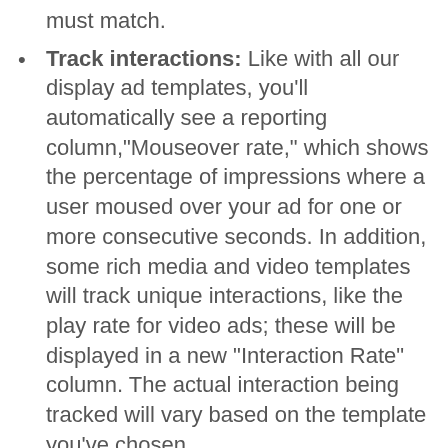must match.
Track interactions: Like with all our display ad templates, you'll automatically see a reporting column,"Mouseover rate," which shows the percentage of impressions where a user moused over your ad for one or more consecutive seconds. In addition, some rich media and video templates will track unique interactions, like the play rate for video ads; these will be displayed in a new "Interaction Rate" column. The actual interaction being tracked will vary based on the template you've chosen.
Use video: If you have video ad files, you can upload them to our new Click to Play video template, which allows you to choose starting and ending images, pick a display URL color, and run your ads across the Google Content Network.
Get creative: Last week, we announced new coupon templates, which allow you to set discounts and change prices within your ad. You